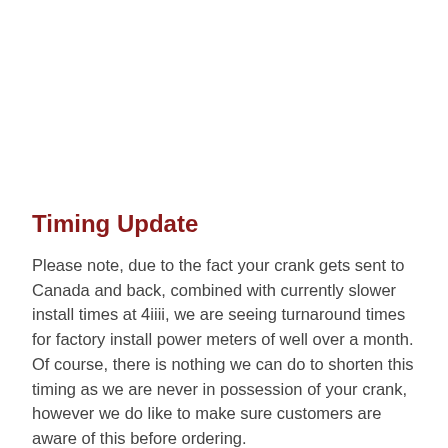Timing Update
Please note, due to the fact your crank gets sent to Canada and back, combined with currently slower install times at 4iiii, we are seeing turnaround times for factory install power meters of well over a month. Of course, there is nothing we can do to shorten this timing as we are never in possession of your crank, however we do like to make sure customers are aware of this before ordering.